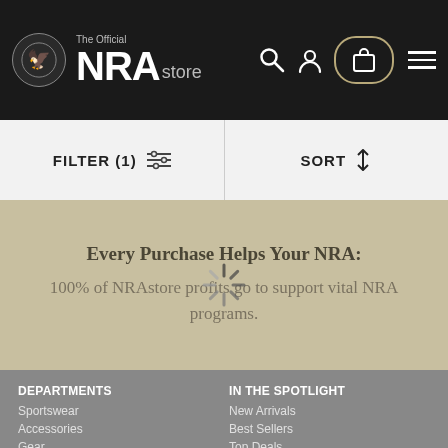The Official NRA store
FILTER (1)  SORT
Every Purchase Helps Your NRA: 100% of NRAstore profits go to support vital NRA programs.
DEPARTMENTS
Sportswear
Accessories
Gear
Home & Office
IN THE SPOTLIGHT
New Arrivals
Best Sellers
Top Deals
Made In USA